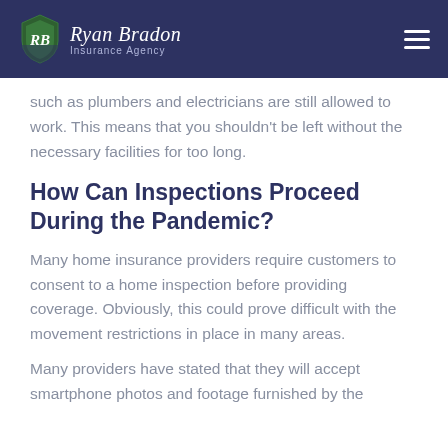Ryan Bradon Insurance Agency
such as plumbers and electricians are still allowed to work. This means that you shouldn't be left without the necessary facilities for too long.
How Can Inspections Proceed During the Pandemic?
Many home insurance providers require customers to consent to a home inspection before providing coverage. Obviously, this could prove difficult with the movement restrictions in place in many areas.
Many providers have stated that they will accept smartphone photos and footage furnished by the